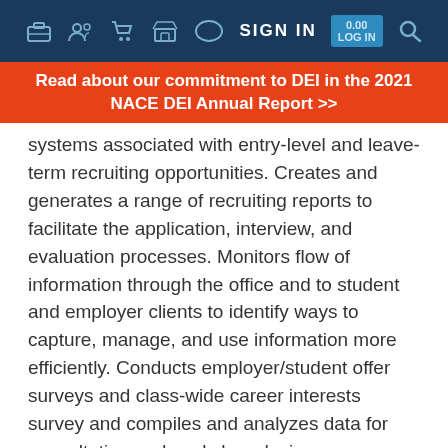SIGN IN
Read about our commitment to DEI in the 2021 NACE DEI Annual Report >>
systems associated with entry-level and leave-term recruiting opportunities. Creates and generates a range of recruiting reports to facilitate the application, interview, and evaluation processes. Monitors flow of information through the office and to student and employer clients to identify ways to capture, manage, and use information more efficiently. Conducts employer/student offer surveys and class-wide career interests survey and compiles and analyzes data for consultation and workshop design, respectively.
Oversees all communications to students and employers regarding recruitment activities. Designs and develops marketing materials.